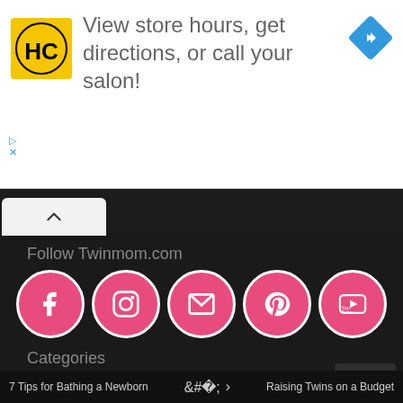[Figure (infographic): Advertisement banner for a salon directory. Shows HC logo (yellow background with black HC letters), text 'View store hours, get directions, or call your salon!', and a blue diamond navigation arrow icon on the right.]
[Figure (infographic): Social media follow section on dark background with label 'Follow Twinmom.com' and five pink circular social media buttons: Facebook, Instagram, Email, Pinterest, YouTube.]
Categories
[Figure (screenshot): Select Category dropdown UI element with arrow.]
Archives
7 Tips for Bathing a Newborn    <    >    Raising Twins on a Budget